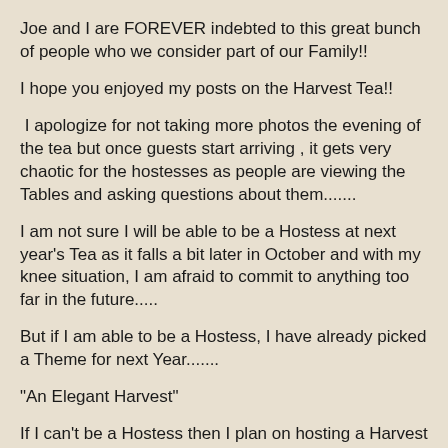Joe and I are FOREVER indebted to this great bunch of people who we consider part of our Family!!
I hope you enjoyed my posts on the Harvest Tea!!
I apologize for not taking more photos the evening of the tea but once guests start arriving , it gets very chaotic for the hostesses as people are viewing the Tables and asking questions about them.......
I am not sure I will be able to be a Hostess at next year's Tea as it falls a bit later in October and with my knee situation, I am afraid to commit to anything too far in the future.....
But if I am able to be a Hostess, I have already picked a Theme for next Year.......
"An Elegant Harvest"
If I can't be a Hostess then I plan on hosting a Harvest Party at my house......